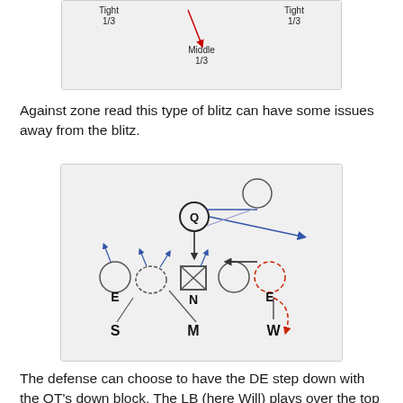[Figure (other): Top portion of a football defensive diagram showing zone coverage with 'Tight 1/3', 'Middle 1/3', and 'Tight 1/3' labels and arrows]
Against zone read this type of blitz can have some issues away from the blitz.
[Figure (other): Football defensive diagram showing players labeled Q (quarterback), E (defensive ends), N (nose), S, M, W (linebackers) with movement arrows. Blue and dark arrows show player routes and assignments, red dashed arrow shows W linebacker movement.]
The defense can choose to have the DE step down with the OT's down block. The LB (here Will) plays over the top and